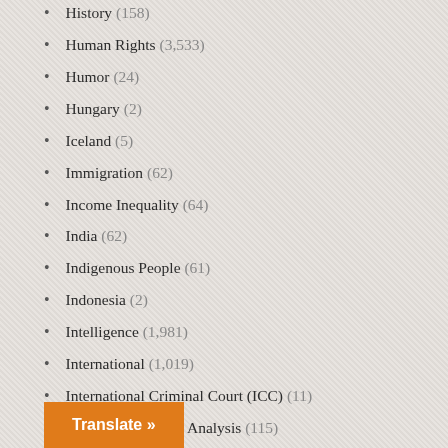History (158)
Human Rights (3,533)
Humor (24)
Hungary (2)
Iceland (5)
Immigration (62)
Income Inequality (64)
India (62)
Indigenous People (61)
Indonesia (2)
Intelligence (1,981)
International (1,019)
International Criminal Court (ICC) (11)
International News Analysis (115)
Iran (184)
Iran-Contra (12)
Iraq (189)
Ireland (10)
Translate »